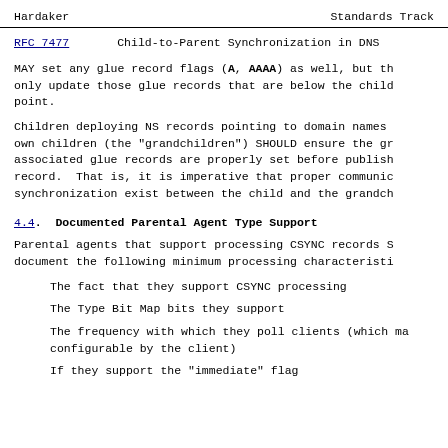Hardaker                        Standards Track
RFC 7477          Child-to-Parent Synchronization in DNS
MAY set any glue record flags (A, AAAA) as well, but th only update those glue records that are below the child point.
Children deploying NS records pointing to domain names own children (the "grandchildren") SHOULD ensure the gr associated glue records are properly set before publish record.  That is, it is imperative that proper communic synchronization exist between the child and the grandch
4.4.  Documented Parental Agent Type Support
Parental agents that support processing CSYNC records S document the following minimum processing characteristi
The fact that they support CSYNC processing
The Type Bit Map bits they support
The frequency with which they poll clients (which ma configurable by the client)
If they support the "immediate" flag